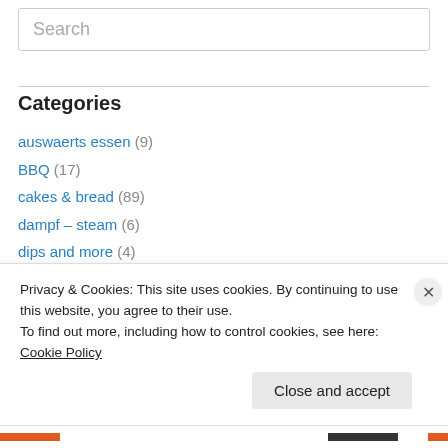Search
Categories
auswaerts essen (9)
BBQ (17)
cakes & bread (89)
dampf – steam (6)
dips and more (4)
events (168)
gadgets (1)
Gelato (22)
Privacy & Cookies: This site uses cookies. By continuing to use this website, you agree to their use. To find out more, including how to control cookies, see here: Cookie Policy
Close and accept